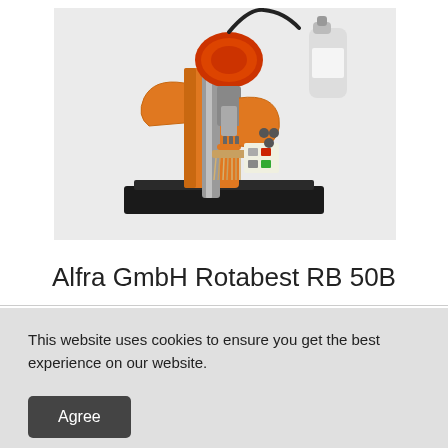[Figure (photo): Alfra GmbH Rotabest RB 50B magnetic drill press — orange and silver body with red motor housing, mounted on black magnetic base, with coolant bottle and brush attachment]
Alfra GmbH Rotabest RB 50B
This website uses cookies to ensure you get the best experience on our website.
Agree